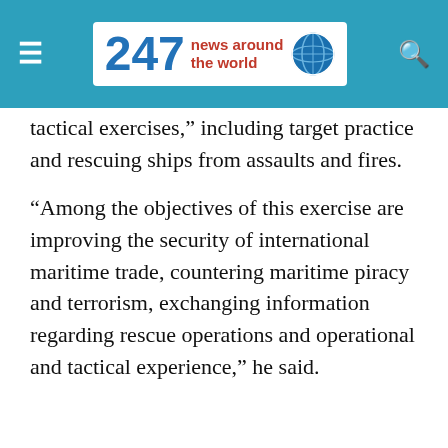247 news around the world
tactical exercises,” including target practice and rescuing ships from assaults and fires.
“Among the objectives of this exercise are improving the security of international maritime trade, countering maritime piracy and terrorism, exchanging information regarding rescue operations and operational and tactical experience,” he said.